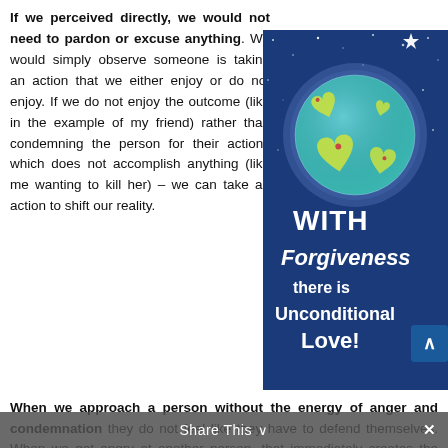If we perceived directly, we would not need to pardon or excuse anything. We would simply observe someone is taking an action that we either enjoy or do not enjoy. If we do not enjoy the outcome (like in the example of my friend) rather than condemning the person for their actions which does not accomplish anything (like me wanting to kill her) – we can take an action to shift our reality.
[Figure (illustration): Illustrated image of Earth as a globe with heart-shaped continents on a dark blue starry background, with text 'WITH Forgiveness there is Unconditional Love!' and a scroll-up arrow button in the bottom right corner.]
When we approach a person without the energy of anger and condemnation they do not feel like they have to defend themselves. When we get angry at another person, that immediately creates the feeling of guilt within them. No person
Share This ∨  ✕